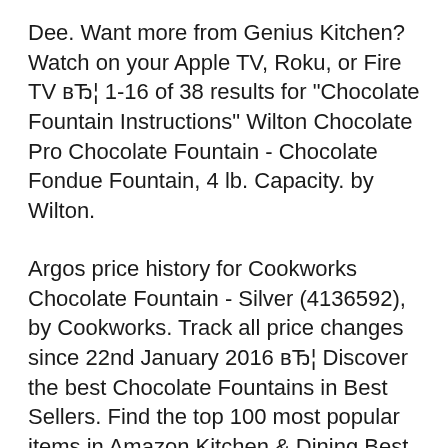Dee. Want more from Genius Kitchen? Watch on your Apple TV, Roku, or Fire TV вЂ¦ 1-16 of 38 results for "Chocolate Fountain Instructions" Wilton Chocolate Pro Chocolate Fountain - Chocolate Fondue Fountain, 4 lb. Capacity. by Wilton.
Argos price history for Cookworks Chocolate Fountain - Silver (4136592), by Cookworks. Track all price changes since 22nd January 2016 вЂ¦ Discover the best Chocolate Fountains in Best Sellers. Find the top 100 most popular items in Amazon Kitchen & Dining Best Sellers.
See this top-three list to find the best chocolate fondue fountain. These reviews are all that you need for 2015 models. See this top-three list to